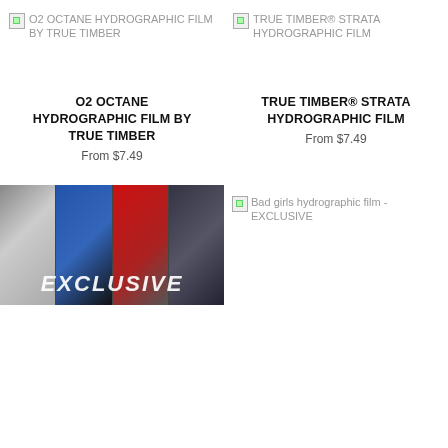[Figure (photo): Broken image placeholder for O2 Octane Hydrographic Film by True Timber]
[Figure (photo): Broken image placeholder for True Timber Strata Hydrographic Film]
O2 OCTANE HYDROGRAPHIC FILM BY TRUE TIMBER
From $7.49
TRUE TIMBER® STRATA HYDROGRAPHIC FILM
From $7.49
[Figure (photo): Product photo showing EXCLUSIVE hydrographic film with 4 panels: black-and-white figure, blue line flag, red stripe, dark background with EXCLUSIVE text overlay]
[Figure (photo): Broken image placeholder for Bad girls hydrographic film - EXCLUSIVE]
Bad girls hydrographic film - EXCLUSIVE